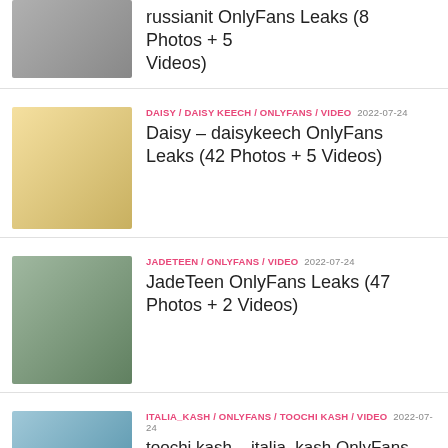russianit OnlyFans Leaks (8 Photos + 5 Videos)
DAISY / DAISY KEECH / ONLYFANS / VIDEO 2022-07-24 — Daisy – daisykeech OnlyFans Leaks (42 Photos + 5 Videos)
JADETEEN / ONLYFANS / VIDEO 2022-07-24 — JadeTeen OnlyFans Leaks (47 Photos + 2 Videos)
ITALIA_KASH / ONLYFANS / TOOCHI KASH / VIDEO 2022-07-24 — toochi kash – italia_kash OnlyFans Leaks (45 Photos + 4 Videos)